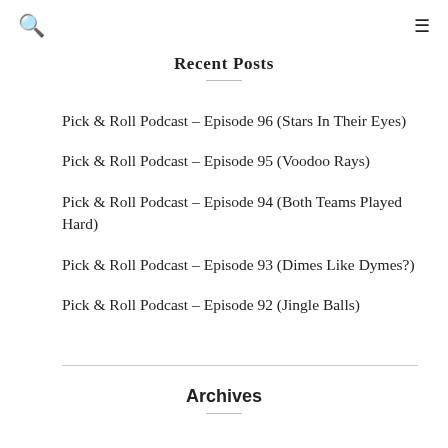Search | Menu
Recent Posts
Pick & Roll Podcast – Episode 96 (Stars In Their Eyes)
Pick & Roll Podcast – Episode 95 (Voodoo Rays)
Pick & Roll Podcast – Episode 94 (Both Teams Played Hard)
Pick & Roll Podcast – Episode 93 (Dimes Like Dymes?)
Pick & Roll Podcast – Episode 92 (Jingle Balls)
Archives